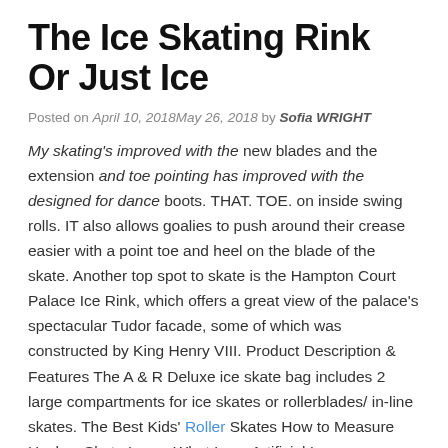The Ice Skating Rink Or Just Ice
Posted on April 10, 2018May 26, 2018 by Sofia WRIGHT
My skating’s improved with the new blades and the extension and toe pointing has improved with the designed for dance boots. THAT. TOE. on inside swing rolls. IT also allows goalies to push around their crease easier with a point toe and heel on the blade of the skate. Another top spot to skate is the Hampton Court Palace Ice Rink, which offers a great view of the palace’s spectacular Tudor facade, some of which was constructed by King Henry VIII. Product Description & Features The A & R Deluxe ice skate bag includes 2 large compartments for ice skates or rollerblades/ in-line skates. The Best Kids’ Roller Skates How to Measure Hockey Skate Laces What Is an Artificial Ice